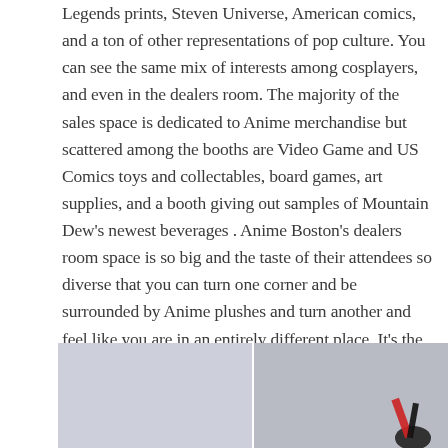Legends prints, Steven Universe, American comics, and a ton of other representations of pop culture. You can see the same mix of interests among cosplayers, and even in the dealers room. The majority of the sales space is dedicated to Anime merchandise but scattered among the booths are Video Game and US Comics toys and collectables, board games, art supplies, and a booth giving out samples of Mountain Dew's newest beverages . Anime Boston's dealers room space is so big and the taste of their attendees so diverse that you can turn one corner and be surrounded by Anime plushes and turn another and feel like you are in an entirely different place. It's the greatest nerd flee market in the world, second only to Otakon.
[Figure (photo): Two side-by-side photos showing items from the dealers room, appearing to show plush toys or merchandise against a light background.]